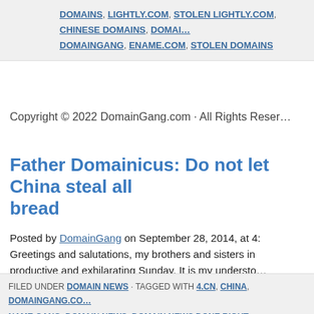DOMAINS, LIGHTLY.COM, STOLEN LIGHTLY.COM, CHINESE DOMAINS, DOMAINGANG, ENAME.COM, STOLEN DOMAINS
Copyright © 2022 DomainGang.com · All Rights Reserved
Father Domainicus: Do not let China steal all bread
Posted by DomainGang on September 28, 2014, at 4: Greetings and salutations, my brothers and sisters in productive and exhilarating Sunday. It is my understo completed its 5th year of journey, and I would like to alumni and members of the Domain [...]
FILED UNDER DOMAIN NEWS · TAGGED WITH 4.CN, CHINA, DOMAINGANG.CO NAME GANG, DOMAIN NEWS, DOMAIN NEWS DONE RIGHT, DOMAINGANG, EN